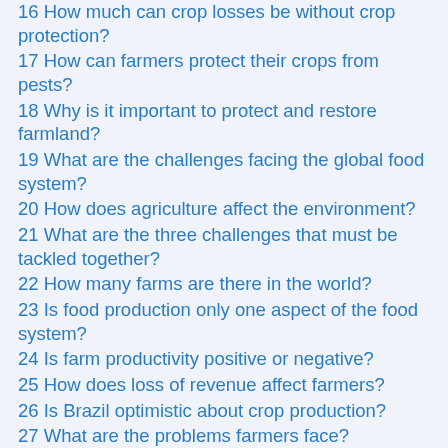16 How much can crop losses be without crop protection?
17 How can farmers protect their crops from pests?
18 Why is it important to protect and restore farmland?
19 What are the challenges facing the global food system?
20 How does agriculture affect the environment?
21 What are the three challenges that must be tackled together?
22 How many farms are there in the world?
23 Is food production only one aspect of the food system?
24 Is farm productivity positive or negative?
25 How does loss of revenue affect farmers?
26 Is Brazil optimistic about crop production?
27 What are the problems farmers face?